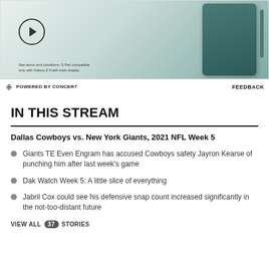[Figure (photo): Advertisement banner showing a Samsung Galaxy Z Fold4 phone with S Pen, teal/green color scheme, with a circular play button on the left side]
POWERED BY CONCERT    FEEDBACK
IN THIS STREAM
Dallas Cowboys vs. New York Giants, 2021 NFL Week 5
Giants TE Even Engram has accused Cowboys safety Jayron Kearse of punching him after last week's game
Dak Watch Week 5: A little slice of everything
Jabril Cox could see his defensive snap count increased significantly in the not-too-distant future
VIEW ALL  37  STORIES